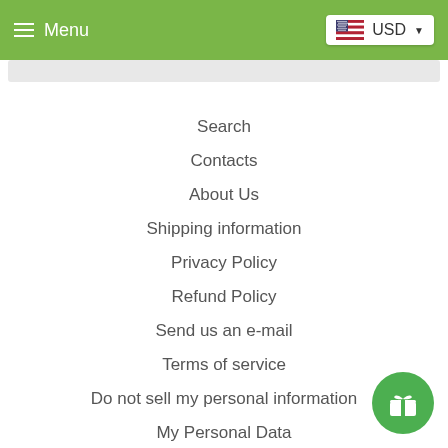Menu   USD
Search
Contacts
About Us
Shipping information
Privacy Policy
Refund Policy
Send us an e-mail
Terms of service
Do not sell my personal information
My Personal Data